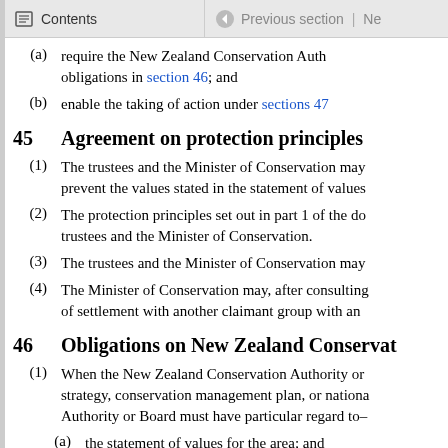Contents | Previous section | Ne
(a) require the New Zealand Conservation Auth obligations in section 46; and
(b) enable the taking of action under sections 47
45 Agreement on protection principles
(1) The trustees and the Minister of Conservation may prevent the values stated in the statement of values
(2) The protection principles set out in part 1 of the do trustees and the Minister of Conservation.
(3) The trustees and the Minister of Conservation may
(4) The Minister of Conservation may, after consulting of settlement with another claimant group with an
46 Obligations on New Zealand Conservat
(1) When the New Zealand Conservation Authority or strategy, conservation management plan, or nationa Authority or Board must have particular regard to–
(a) the statement of values for the area; and